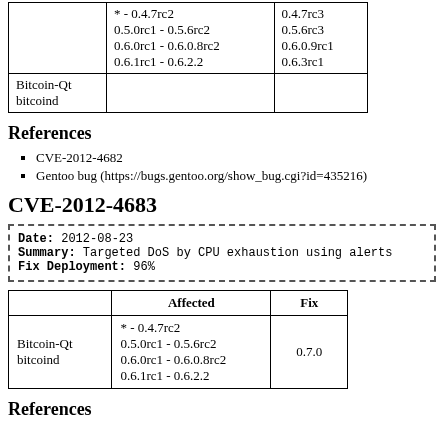|  | Affected | Fix |
| --- | --- | --- |
| Bitcoin-Qt
bitcoind | * - 0.4.7rc2
0.5.0rc1 - 0.5.6rc2
0.6.0rc1 - 0.6.0.8rc2
0.6.1rc1 - 0.6.2.2 | 0.4.7rc3
0.5.6rc3
0.6.0.9rc1
0.6.3rc1 |
References
CVE-2012-4682
Gentoo bug (https://bugs.gentoo.org/show_bug.cgi?id=435216)
CVE-2012-4683
Date: 2012-08-23
Summary: Targeted DoS by CPU exhaustion using alerts
Fix Deployment: 96%
|  | Affected | Fix |
| --- | --- | --- |
| Bitcoin-Qt
bitcoind | * - 0.4.7rc2
0.5.0rc1 - 0.5.6rc2
0.6.0rc1 - 0.6.0.8rc2
0.6.1rc1 - 0.6.2.2 | 0.7.0 |
References